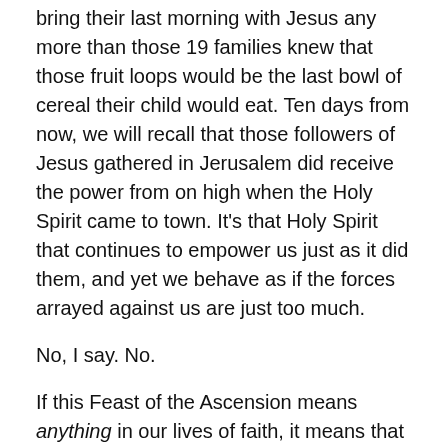bring their last morning with Jesus any more than those 19 families knew that those fruit loops would be the last bowl of cereal their child would eat. Ten days from now, we will recall that those followers of Jesus gathered in Jerusalem did receive the power from on high when the Holy Spirit came to town. It's that Holy Spirit that continues to empower us just as it did them, and yet we behave as if the forces arrayed against us are just too much.
No, I say. No.
If this Feast of the Ascension means anything in our lives of faith, it means that we have the power and authority to move mountains. We are the ends of the earth to which those original disciples were witnesses, something they could not have imagined in a million years. So why do we stand here looking